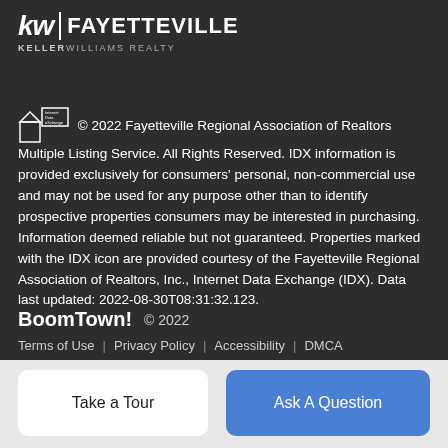[Figure (logo): KW Fayetteville Keller Williams Realty logo in white on dark background]
© 2022 Fayetteville Regional Association of Realtors Multiple Listing Service. All Rights Reserved. IDX information is provided exclusively for consumers' personal, non-commercial use and may not be used for any purpose other than to identify prospective properties consumers may be interested in purchasing. Information deemed reliable but not guaranteed. Properties marked with the IDX icon are provided courtesy of the Fayetteville Regional Association of Realtors, Inc., Internet Data Exchange (IDX). Data last updated: 2022-08-30T08:31:32.123.
BoomTown! © 2022
Terms of Use | Privacy Policy | Accessibility | DMCA
Take a Tour
Ask A Question